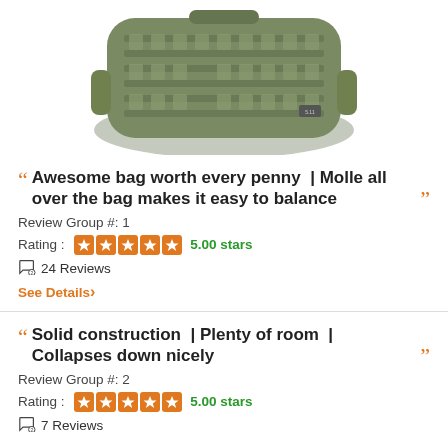[Figure (photo): Olive/tan tactical MOLLE backpack shown from the front/side, with webbing straps visible across the body of the bag.]
Awesome bag worth every penny | Molle all over the bag makes it easy to balance
Review Group #: 1
Rating : 5.00 stars
24 Reviews
See Details >
Solid construction | Plenty of room | Collapses down nicely
Review Group #: 2
Rating : 5.00 stars
7 Reviews